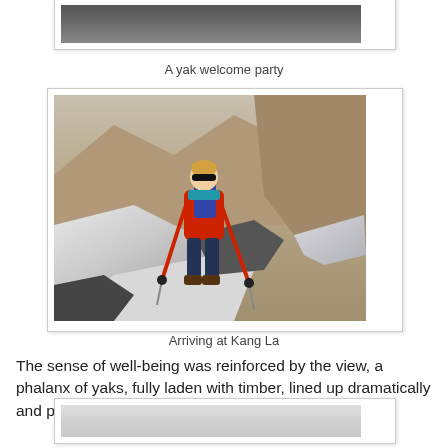[Figure (photo): Top portion of a photo showing a dark road or ground surface - yak welcome party photo, partially cropped at top]
A yak welcome party
[Figure (photo): A hiker wearing a red jacket, sunglasses, and backpack, using trekking poles, standing on a snowy mountain pass with brown rocky mountains and a glacier visible in the background]
Arriving at Kang La
The sense of well-being was reinforced by the view, a phalanx of yaks, fully laden with timber, lined up dramatically and preparing to descend the pass.
[Figure (photo): Partial photo at bottom of page, appears to show a snowy or misty landscape, cropped]